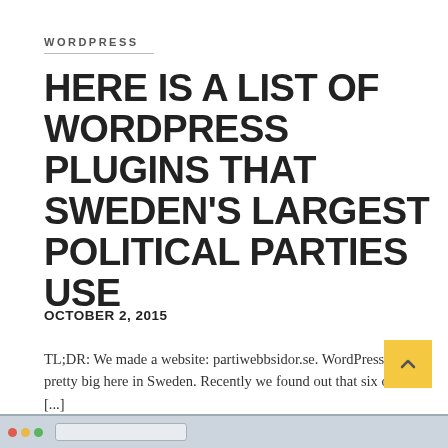WORDPRESS
HERE IS A LIST OF WORDPRESS PLUGINS THAT SWEDEN'S LARGEST POLITICAL PARTIES USE
OCTOBER 2, 2015
TL;DR: We made a website: partiwebbsidor.se. WordPress is pretty big here in Sweden. Recently we found out that six of the [...]